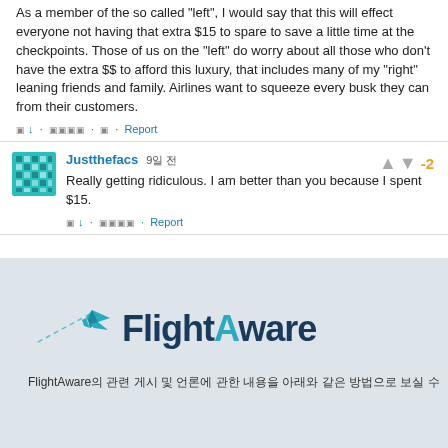As a member of the so called "left", I would say that this will effect everyone not having that extra $15 to spare to save a little time at the checkpoints. Those of us on the "left" do worry about all those who don't have the extra $$ to afford this luxury, that includes many of my "right" leaning friends and family. Airlines want to squeeze every busk they can from their customers.
응 ↓ · 응응응응 · 응 · Report
Justthefacs  9일 전
Really getting ridiculous. I am better than you because I spent $15.
응 ↓ · 응응응응 · Report
[Figure (logo): FlightAware logo with airplane icon and dashed flight path]
FlightAware의 관련 게시 및 언론에 관한 내용을 아래와 같은 방법으로 보실 수